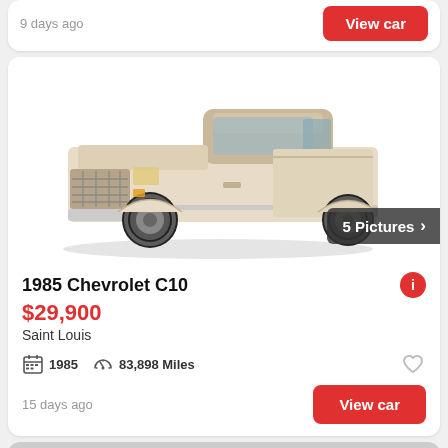9 days ago
View car
[Figure (photo): 1985 Chevrolet C10 pickup truck, beige/tan color, viewed from front-left angle, on white background. Badge overlay reads '5 Pictures >']
1985 Chevrolet C10
$29,900
Saint Louis
1985   83,898 Miles
15 days ago
View car